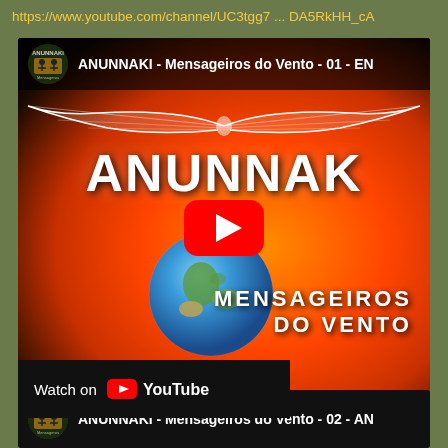https://www.youtube.com/channel/UC3tgg7 ... DA5RkHH_cA
[Figure (screenshot): YouTube video thumbnail for 'ANUNNAKI - Mensageiros do Vento - 01 - EN' showing the word ANUNNAKI over an orange sun with a globe, and a red play button. Channel icon visible top-left. 'Watch on YouTube' bar at bottom-left.]
[Figure (screenshot): YouTube video thumbnail for 'ANUNNAKI - Mensageiros do Vento - 02 - AN' showing a green alien face. Channel icon visible top-left.]